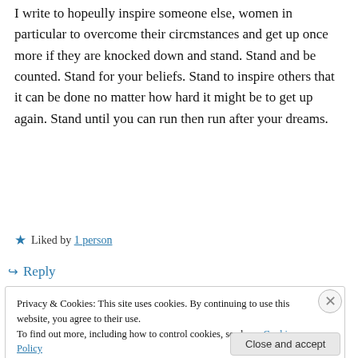I write to hopeully inspire someone else, women in particular to overcome their circmstances and get up once more if they are knocked down and stand. Stand and be counted. Stand for your beliefs. Stand to inspire others that it can be done no matter how hard it might be to get up again. Stand until you can run then run after your dreams.
★ Liked by 1 person
↪ Reply
Privacy & Cookies: This site uses cookies. By continuing to use this website, you agree to their use.
To find out more, including how to control cookies, see here: Cookie Policy
Close and accept